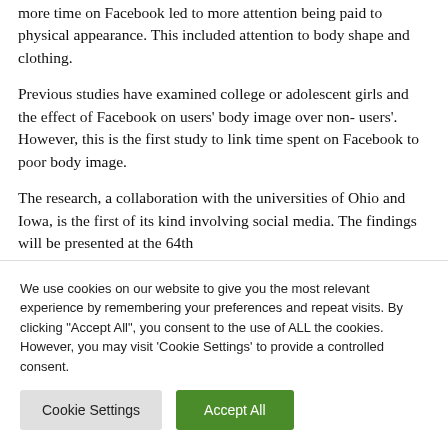more time on Facebook led to more attention being paid to physical appearance. This included attention to body shape and clothing.
Previous studies have examined college or adolescent girls and the effect of Facebook on users' body image over non- users'. However, this is the first study to link time spent on Facebook to poor body image.
The research, a collaboration with the universities of Ohio and Iowa, is the first of its kind involving social media. The findings will be presented at the 64th
We use cookies on our website to give you the most relevant experience by remembering your preferences and repeat visits. By clicking "Accept All", you consent to the use of ALL the cookies. However, you may visit 'Cookie Settings' to provide a controlled consent.